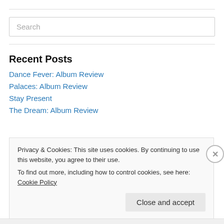Search
Recent Posts
Dance Fever: Album Review
Palaces: Album Review
Stay Present
The Dream: Album Review
Privacy & Cookies: This site uses cookies. By continuing to use this website, you agree to their use. To find out more, including how to control cookies, see here: Cookie Policy
Close and accept